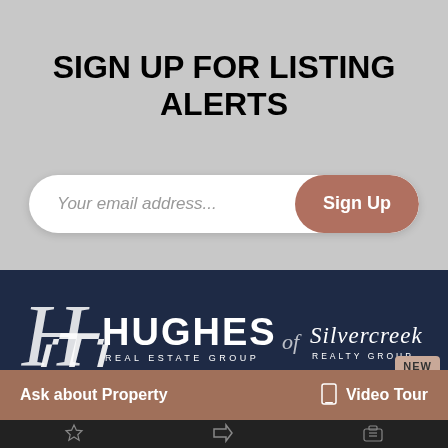SIGN UP FOR LISTING ALERTS
Your email address...
Sign Up
[Figure (logo): Hughes Real Estate Group of Silvercreek Realty Group logo on dark navy background]
NEW
Ask about Property
Video Tour